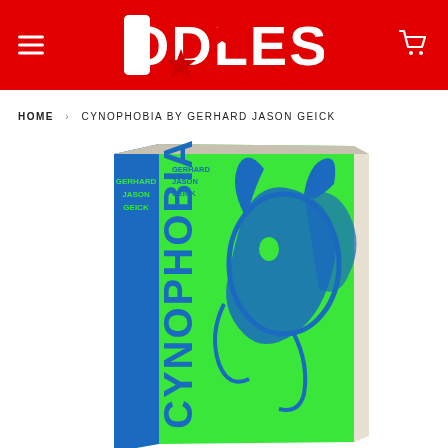GODLESS
HOME › CYNOPHOBIA BY GERHARD JASON GEICK
[Figure (photo): Book cover of Cynophobia by Gerhard Jason Geick. A hardcover book with a bright green background and blue illustrated dog artwork. The spine and front cover are visible at an angle. The text 'GERHARD JASON GEICK' appears in blue on the upper left and 'CYNOPHOBIA' runs vertically in blue bold letters.]